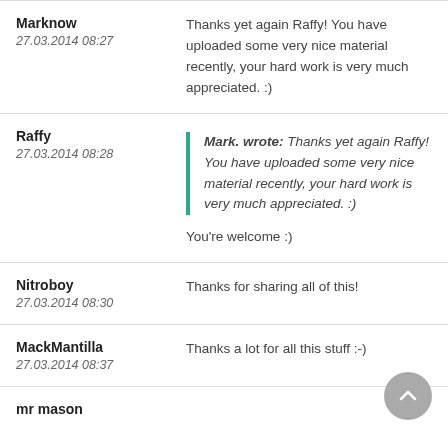Marknow
27.03.2014 08:27
Thanks yet again Raffy! You have uploaded some very nice material recently, your hard work is very much appreciated. :)
Raffy
27.03.2014 08:28
Mark. wrote: Thanks yet again Raffy! You have uploaded some very nice material recently, your hard work is very much appreciated. :)
You're welcome :)
Nitroboy
27.03.2014 08:30
Thanks for sharing all of this!
MackMantilla
27.03.2014 08:37
Thanks a lot for all this stuff :-)
mr mason